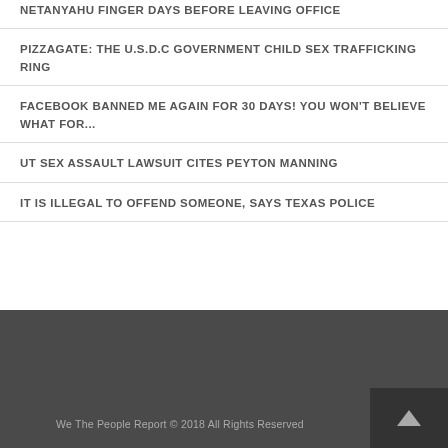NETANYAHU FINGER DAYS BEFORE LEAVING OFFICE
PIZZAGATE: THE U.S.D.C GOVERNMENT CHILD SEX TRAFFICKING RING
FACEBOOK BANNED ME AGAIN FOR 30 DAYS! YOU WON'T BELIEVE WHAT FOR...
UT SEX ASSAULT LAWSUIT CITES PEYTON MANNING
IT IS ILLEGAL TO OFFEND SOMEONE, SAYS TEXAS POLICE
We The People Report © 2018 All Rights Reserved